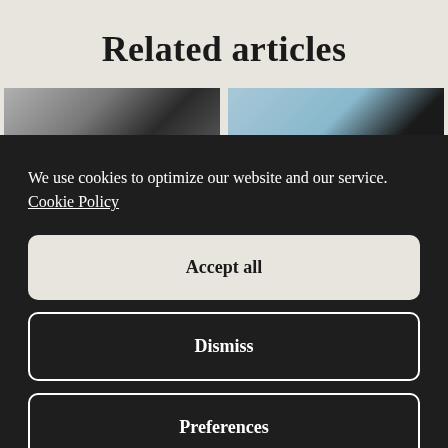Related articles
[Figure (photo): Two photo thumbnails at the top: left shows a person in dark clothing against a light background, right shows a light blue/teal background with dark element]
We use cookies to optimize our website and our service.
Cookie Policy
Accept all
Dismiss
Preferences
[Figure (photo): Two photo thumbnails at the bottom: left shows a person in dark formal wear, right shows a warm-toned scene]